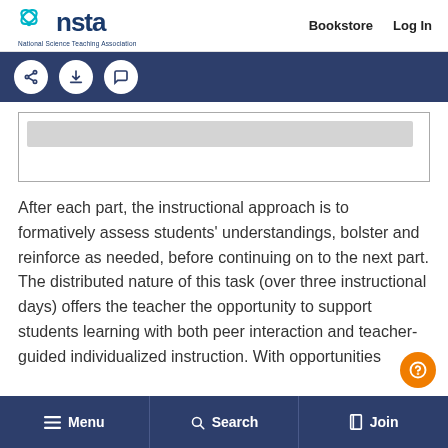nsta | National Science Teaching Association | Bookstore | Log In
[Figure (screenshot): NSTA website toolbar with share, download, and comment icon buttons on dark blue background]
[Figure (screenshot): Content box area with light gray inner rectangle placeholder]
After each part, the instructional approach is to formatively assess students' understandings, bolster and reinforce as needed, before continuing on to the next part. The distributed nature of this task (over three instructional days) offers the teacher the opportunity to support students learning with both peer interaction and teacher-guided individualized instruction. With opportunities
Menu | Search | Join